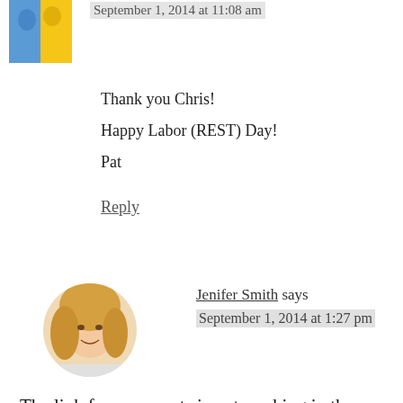[Figure (photo): Partially visible avatar image showing person in blue/yellow clothing, cropped at top]
September 1, 2014 at 11:08 am
Thank you Chris!
Happy Labor (REST) Day!
Pat
Reply
[Figure (photo): Round avatar photo of Jenifer Smith, a woman with blonde hair, smiling]
Jenifer Smith says
September 1, 2014 at 1:27 pm
The link for comments is not working in the post above, so I am leaving a comment here to be entered into one of those last 2 spots for “The Best Yes” giveaway. I am entering my name,